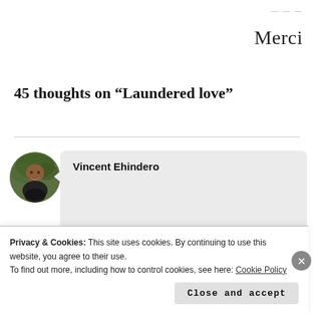Merci
45 thoughts on “Laundered love”
[Figure (photo): Circular avatar photo of Vincent Ehindero, a person smiling outdoors with green foliage in background]
Vincent Ehindero
I was really attracted with your
Privacy & Cookies: This site uses cookies. By continuing to use this website, you agree to their use.
To find out more, including how to control cookies, see here: Cookie Policy
Close and accept